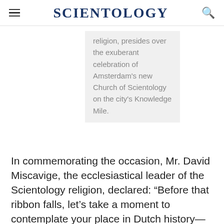SCIENTOLOGY
religion, presides over the exuberant celebration of Amsterdam's new Church of Scientology on the city's Knowledge Mile.
In commemorating the occasion, Mr. David Miscavige, the ecclesiastical leader of the Scientology religion, declared: “Before that ribbon falls, let’s take a moment to contemplate your place in Dutch history—not to mention mythology. For you are no longer sailing seaward and windward, and you’re no longer skirting headlands homeward. On the contrary, you’re outward bound on a